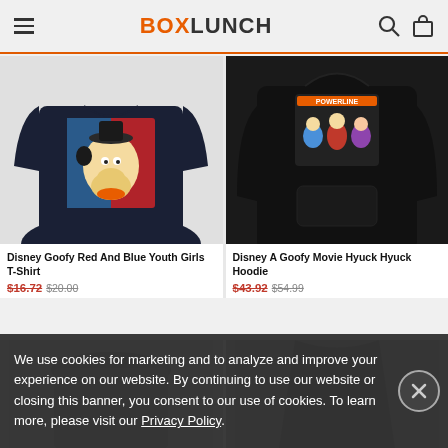BOXLUNCH
[Figure (photo): Disney Goofy Red And Blue Youth Girls T-Shirt product photo on dark navy background]
[Figure (photo): Disney A Goofy Movie Hyuck Hyuck Hoodie product photo on black background]
Disney Goofy Red And Blue Youth Girls T-Shirt
$16.72 $20.00
Disney A Goofy Movie Hyuck Hyuck Hoodie
$43.92 $54.99
[Figure (photo): Partially visible product images at bottom of page]
We use cookies for marketing and to analyze and improve your experience on our website. By continuing to use our website or closing this banner, you consent to our use of cookies. To learn more, please visit our Privacy Policy.